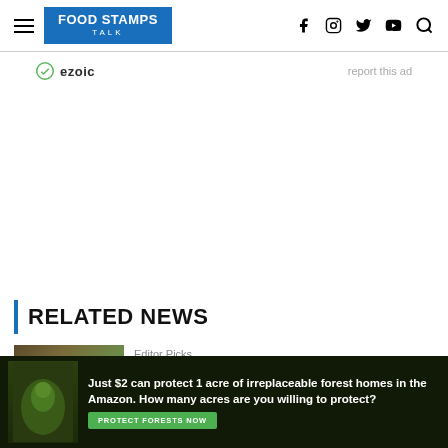FOOD STAMPS TALK
ezoic  report this ad
RELATED NEWS
[Figure (photo): Thumbnail image for a related news article, showing outdoor/nature scene]
Editor Picks
[Figure (photo): Bottom advertisement banner: Just $2 can protect 1 acre of irreplaceable forest homes in the Amazon. How many acres are you willing to protect? PROTECT FORESTS NOW]